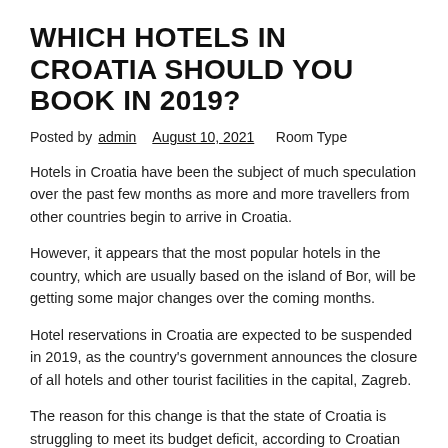WHICH HOTELS IN CROATIA SHOULD YOU BOOK IN 2019?
Posted by admin August 10, 2021    Room Type
Hotels in Croatia have been the subject of much speculation over the past few months as more and more travellers from other countries begin to arrive in Croatia.
However, it appears that the most popular hotels in the country, which are usually based on the island of Bor, will be getting some major changes over the coming months.
Hotel reservations in Croatia are expected to be suspended in 2019, as the country's government announces the closure of all hotels and other tourist facilities in the capital, Zagreb.
The reason for this change is that the state of Croatia is struggling to meet its budget deficit, according to Croatian news outlet Zagrebo, which is also citing tourism industry experts.